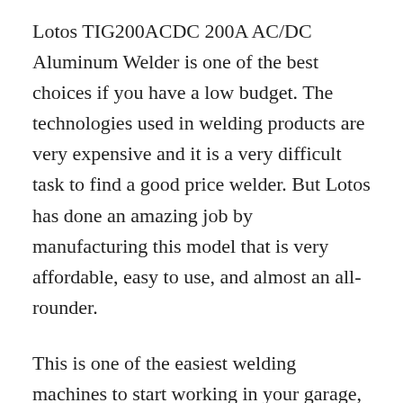Lotos TIG200ACDC 200A AC/DC Aluminum Welder is one of the best choices if you have a low budget. The technologies used in welding products are very expensive and it is a very difficult task to find a good price welder. But Lotos has done an amazing job by manufacturing this model that is very affordable, easy to use, and almost an all-rounder.
This is one of the easiest welding machines to start working in your garage, but can also work well in any workshop as well. It's an AC/DC machine hence you can use it for welding aluminum as well. also, its DC mode can be used to fuse thin stainless steel sheet metal and heavy gauged sections. The lotos company has kept the design very simple. The panel